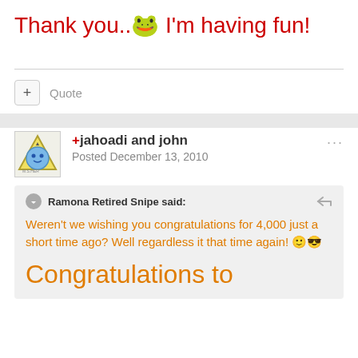Thank you.. 🐸 I'm having fun!
+ Quote
+jahoadi and john
Posted December 13, 2010
Ramona Retired Snipe said:
Weren't we wishing you congratulations for 4,000 just a short time ago? Well regardless it that time again! 🙂😎
Congratulations to